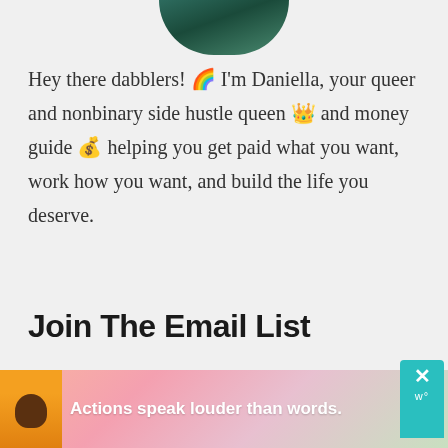[Figure (photo): Circular profile photo cropped at top showing dark teal/green hair, partially visible at top of page]
Hey there dabblers! 🌈 I'm Daniella, your queer and nonbinary side hustle queen 👑 and money guide 💰 helping you get paid what you want, work how you want, and build the life you deserve.
Join The Email List
[Figure (screenshot): Web form with First Name and Email Address input fields, partially visible]
[Figure (infographic): Advertisement banner with illustrated person in yellow shirt, text 'Actions speak louder than words.' on pink/floral background, with close button and teal widget button]